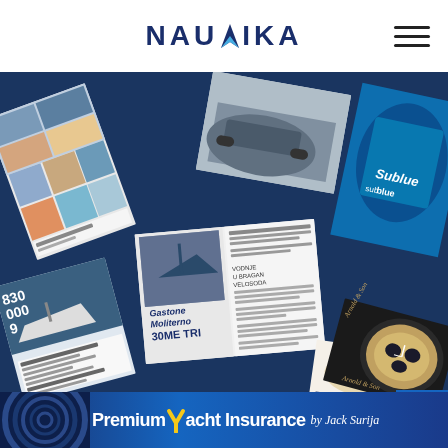NAUTIKA
[Figure (photo): Flat lay of multiple Nautika magazines spread out on a dark navy blue background, showing various covers and open spreads with yacht, travel, watch and food content. Visible titles include 'Sublue', 'Arnold & Son', 'Evolucija hrane', '30ME TRI'.]
NAUTIKA
[Figure (photo): Premium Yacht Insurance by Jack Surija advertisement banner with dark blue background and rope texture on the left side. Yellow checkmark in the text.]